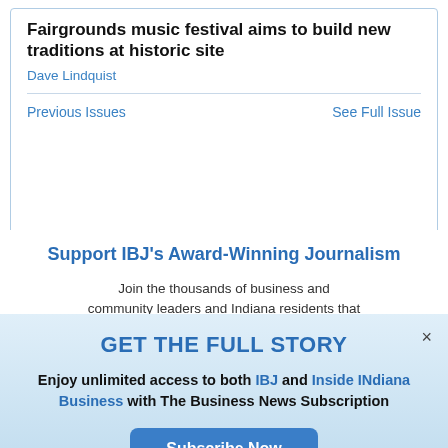Fairgrounds music festival aims to build new traditions at historic site
Dave Lindquist
Previous Issues
See Full Issue
Support IBJ's Award-Winning Journalism
Join the thousands of business and community leaders and Indiana residents that
GET THE FULL STORY
Enjoy unlimited access to both IBJ and Inside INdiana Business with The Business News Subscription
Subscribe Now
Already a paid subscriber?
Log In